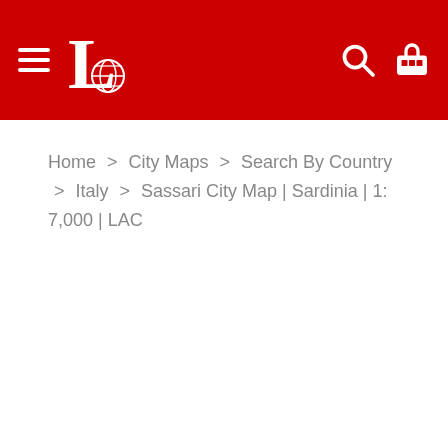Header navigation bar with hamburger menu, logo, search icon, and cart icon
Home > City Maps > Search By Country > Italy > Sassari City Map | Sardinia | 1: 7,000 | LAC